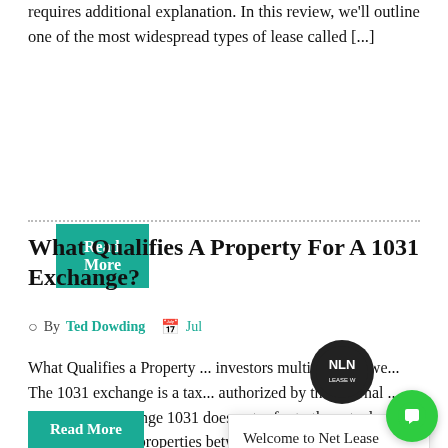requires additional explanation. In this review, we'll outline one of the most widespread types of lease called [...]
Read More
What Qualifies A Property For A 1031 Exchange?
By Ted Dowding  Jul
What Qualifies a Property ... investors multiply their we... The 1031 exchange is a tax... authorized by the Internal ... properties. Exchange 1031 does not refer to the actual exchange of two properties between two owners, bu... the process of [...]
[Figure (logo): Net Lease World circular logo in black and white]
Welcome to Net Lease World, the world's simplest way to transact NNN Investment Properties.
[Figure (other): Green circular chat button]